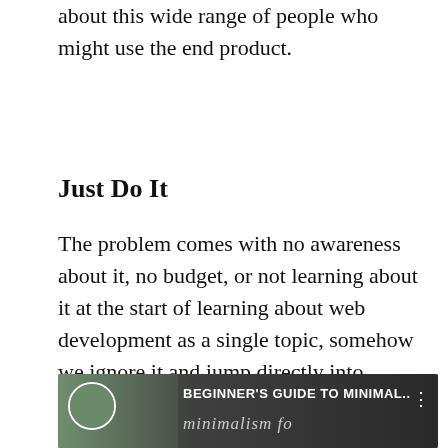about this wide range of people who might use the end product.
Just Do It
The problem comes with no awareness about it, no budget, or not learning about it at the start of learning about web development as a single topic, somehow we ignore it and jump directly into writing HTML without thinking about this wide range of people who might use the end product.
[Figure (screenshot): Video thumbnail with title 'BEGINNER'S GUIDE TO MINIMAL...' and subtitle text 'minimalism fo' in italic serif font, on a dark background with circular portrait photo on the left]